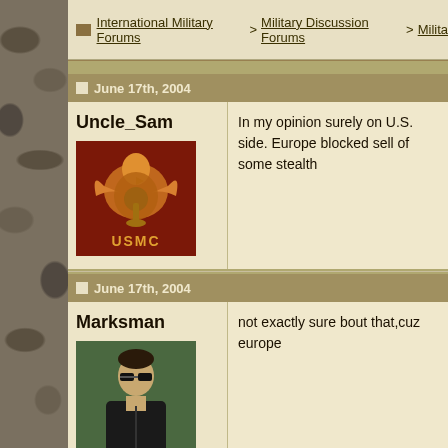International Military Forums > Military Discussion Forums > Milita
June 17th, 2004
Uncle_Sam
[Figure (illustration): USMC logo avatar - eagle globe and anchor emblem in gold/orange tones on dark red background with USMC text]
In my opinion surely on U.S. side. Europe blocked sell of some stealth
June 17th, 2004
Marksman
[Figure (photo): Photo of a young person wearing dark jacket standing in front of a green background]
not exactly sure bout that,cuz europe